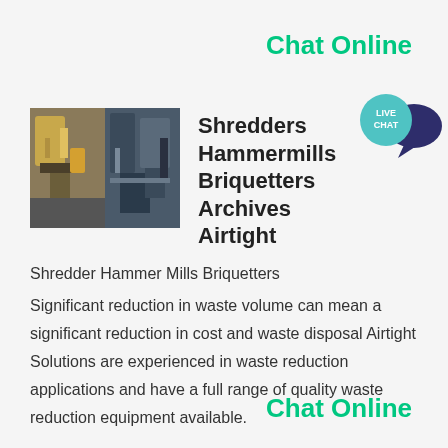Chat Online
[Figure (illustration): Live chat speech bubble icon with teal circle and dark navy speech bubble overlay, text LIVE CHAT inside]
[Figure (photo): Two industrial machinery photos side by side showing shredder/hammermill equipment]
Shredders Hammermills Briquetters Archives Airtight
Shredder Hammer Mills Briquetters
Significant reduction in waste volume can mean a significant reduction in cost and waste disposal Airtight Solutions are experienced in waste reduction applications and have a full range of quality waste reduction equipment available.
Chat Online